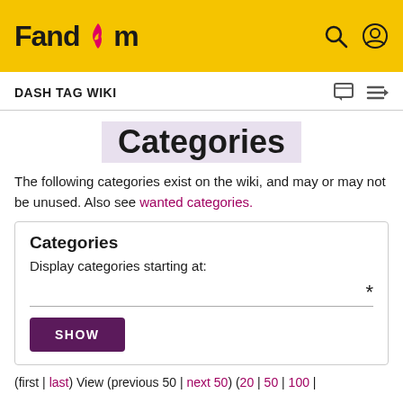Fandom
DASH TAG WIKI
Categories
The following categories exist on the wiki, and may or may not be unused. Also see wanted categories.
Categories
Display categories starting at:
SHOW
(first | last) View (previous 50 | next 50) (20 | 50 | 100 |